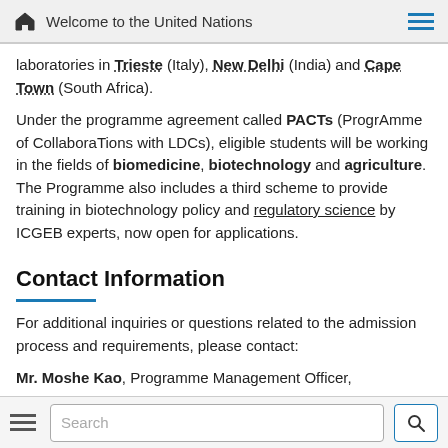Welcome to the United Nations
laboratories in Trieste (Italy), New Delhi (India) and Cape Town (South Africa).
Under the programme agreement called PACTs (ProgrAmme of CollaboraTions with LDCs), eligible students will be working in the fields of biomedicine, biotechnology and agriculture. The Programme also includes a third scheme to provide training in biotechnology policy and regulatory science by ICGEB experts, now open for applications.
Contact Information
For additional inquiries or questions related to the admission process and requirements, please contact:
Mr. Moshe Kao, Programme Management Officer, UNTRLIO